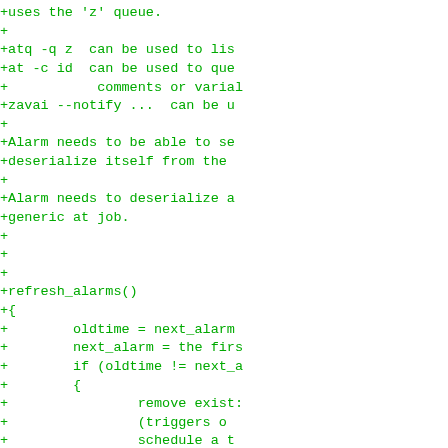[Figure (screenshot): A code diff view showing green lines (additions) of code related to alarm scheduling logic. Lines include comments about 'zavai', 'Alarm', 'refresh_alarms()' function, and 'at clock constructor' with inotifywait usage. Text is truncated on the right side.]